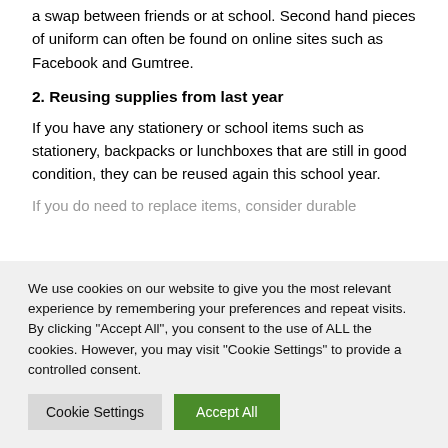a swap between friends or at school. Second hand pieces of uniform can often be found on online sites such as Facebook and Gumtree.
2. Reusing supplies from last year
If you have any stationery or school items such as stationery, backpacks or lunchboxes that are still in good condition, they can be reused again this school year.
If you do need to replace items, consider durable
We use cookies on our website to give you the most relevant experience by remembering your preferences and repeat visits. By clicking "Accept All", you consent to the use of ALL the cookies. However, you may visit "Cookie Settings" to provide a controlled consent.